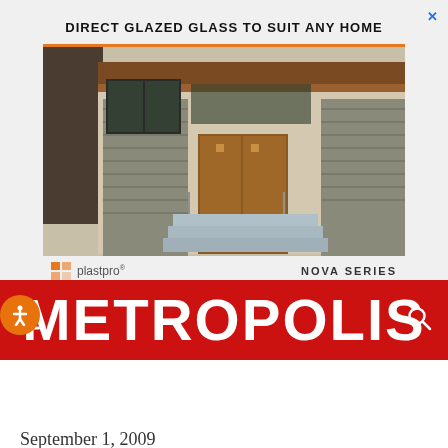DIRECT GLAZED GLASS TO SUIT ANY HOME
[Figure (photo): Exterior photo of a modern home entrance with stone pillars, dark-framed windows, wood accents, and glass steps]
plastpro® NOVA SERIES
METROPOLIS
September 1, 2009